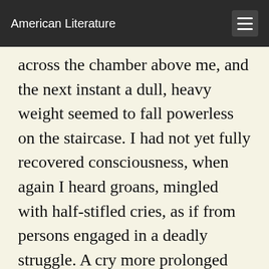American Literature
across the chamber above me, and the next instant a dull, heavy weight seemed to fall powerless on the staircase. I had not yet fully recovered consciousness, when again I heard groans, mingled with half-stifled cries, as if from persons engaged in a deadly struggle. A cry more prolonged than the others and ending in a series of groans effectually roused me from my drowsy lethargy. Hastily raising myself on one arm, I looked around, but all was dark; and it seemed to me as if the rain must have penetrated through the flooring of the room above, for some kind of moisture appeared to fall, drop by drop, upon my forehead, and when I passed my